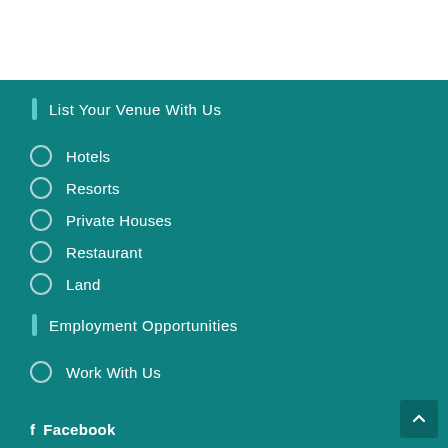List Your Venue With Us
Hotels
Resorts
Private Houses
Restaurant
Land
Employment Opportunities
Work With Us
Facebook